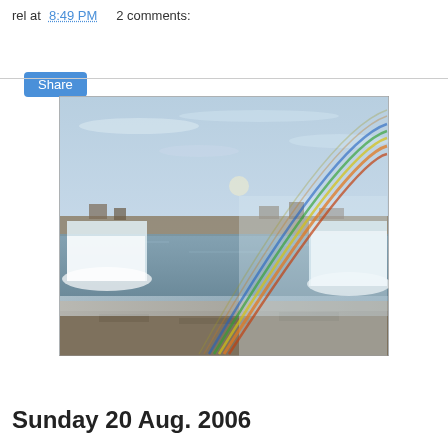rel at 8:49 PM   2 comments:
Share
[Figure (photo): Aerial view of Niagara Falls with a rainbow arcing over the water and mist, showing both the American Falls on the left and Horseshoe Falls on the right, with a blue-grey sky and misty atmosphere.]
Sunday 20 Aug. 2006